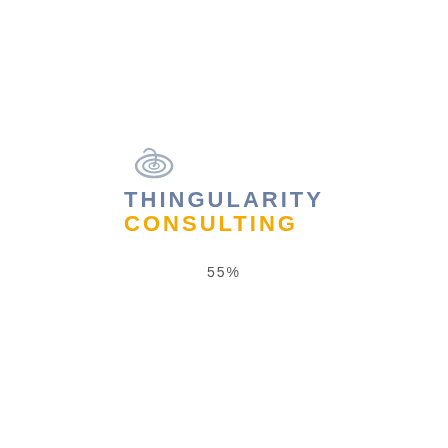[Figure (logo): Thingularity Consulting logo with spiral/swirl icon above the text. 'THINGULARITY' in steel blue/gray uppercase letters, 'CONSULTING' in bold golden-yellow uppercase letters.]
55%